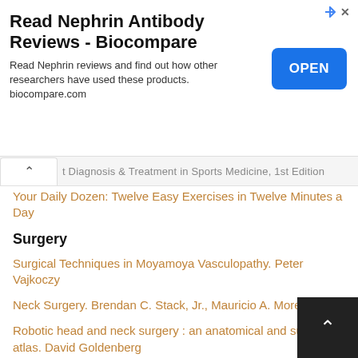[Figure (screenshot): Advertisement banner for Biocompare Nephrin Antibody Reviews with an OPEN button]
Read Nephrin Antibody Reviews - Biocompare
Read Nephrin reviews and find out how other researchers have used these products. biocompare.com
t Diagnosis & Treatment in Sports Medicine, 1st Edition
Your Daily Dozen: Twelve Easy Exercises in Twelve Minutes a Day
Surgery
Surgical Techniques in Moyamoya Vasculopathy. Peter Vajkoczy
Neck Surgery. Brendan C. Stack, Jr., Mauricio A. Moreno, MD
Robotic head and neck surgery : an anatomical and surgical atlas. David Goldenberg
Pelvic Floor Disorders: Surgical Approach
Atlas of Surgical Correction of Female Genital Malformation 1st ed.
Grabb and Smith's Plastic Surgery (GRABB'S PLASTIC SURGERY) Seventh Ed
Emergency War Surgery: The Survivalist's Medical Desk Ref…